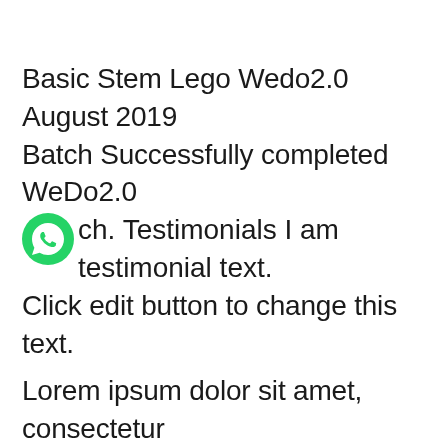Basic Stem Lego Wedo2.0 August 2019 Batch Successfully completed WeDo2.0 ch. Testimonials I am testimonial text. Click edit button to change this text.

Lorem ipsum dolor sit amet, consectetur